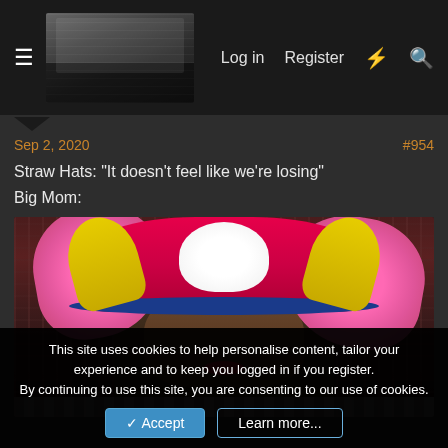Log in  Register
Sep 2, 2020    #954
Straw Hats: "It doesn't feel like we're losing"

Big Mom:
[Figure (photo): Meme image of a person with Big Mom (One Piece character) hat and pink hair overlaid on their head, sitting in front of a crowd/arena background]
This site uses cookies to help personalise content, tailor your experience and to keep you logged in if you register.
By continuing to use this site, you are consenting to our use of cookies.